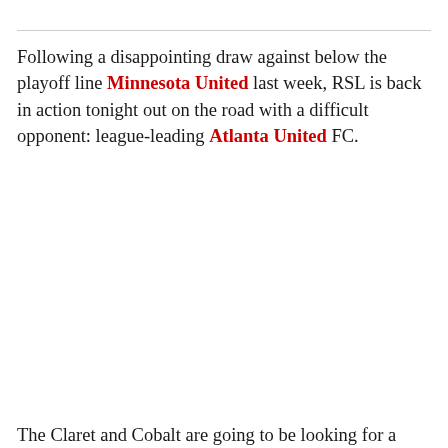Following a disappointing draw against below the playoff line Minnesota United last week, RSL is back in action tonight out on the road with a difficult opponent: league-leading Atlanta United FC.
The Claret and Cobalt are going to be looking for a